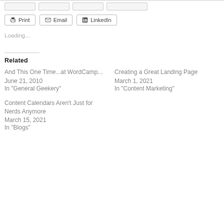[Figure (screenshot): Share buttons row: Print, Email, LinkedIn]
Loading...
Related
And This One Time...at WordCamp...
June 21, 2010
In "General Geekery"
Creating a Great Landing Page
March 1, 2021
In "Content Marketing"
Content Calendars Aren't Just for Nerds Anymore
March 15, 2021
In "Blogs"